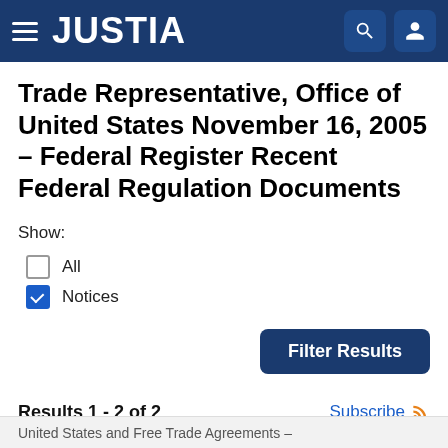JUSTIA
Trade Representative, Office of United States November 16, 2005 – Federal Register Recent Federal Regulation Documents
Show:
All
Notices
Filter Results
Results 1 - 2 of 2
Subscribe
United States and Free Trade Agreements – page text (partial)